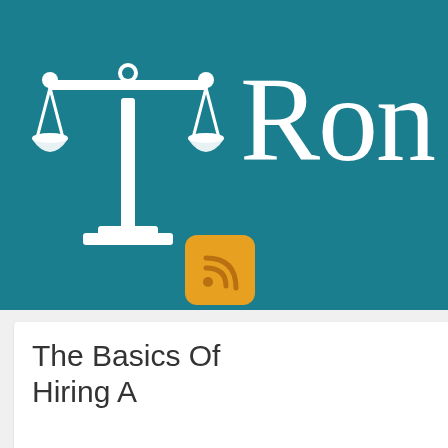[Figure (logo): Legal website header banner with teal background, scales of justice icon in white on the left, and large white serif letter 'Ron' (partially cut off) on the right, with an orange RSS feed button below]
The Basics Of Hiring A
About Me